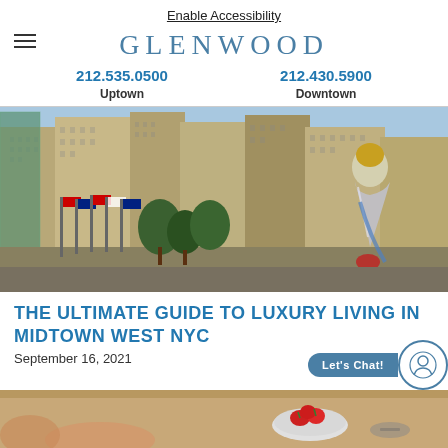Enable Accessibility
GLENWOOD
212.535.0500 Uptown  212.430.5900 Downtown
[Figure (photo): Aerial/street-level photo of Rockefeller Center area in Midtown NYC with tall buildings, flags, trees, and a large reflective sculpture of a figure in the foreground right.]
THE ULTIMATE GUIDE TO LUXURY LIVING IN MIDTOWN WEST NYC
September 16, 2021
[Figure (photo): Partial bottom strip showing a table with strawberries and other food items.]